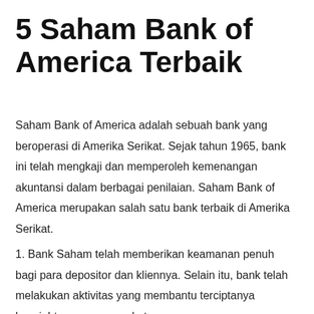5 Saham Bank of America Terbaik
Saham Bank of America adalah sebuah bank yang beroperasi di Amerika Serikat. Sejak tahun 1965, bank ini telah mengkaji dan memperoleh kemenangan akuntansi dalam berbagai penilaian. Saham Bank of America merupakan salah satu bank terbaik di Amerika Serikat.
1. Bank Saham telah memberikan keamanan penuh bagi para depositor dan kliennya. Selain itu, bank telah melakukan aktivitas yang membantu terciptanya kesejahteraan masyarakat.